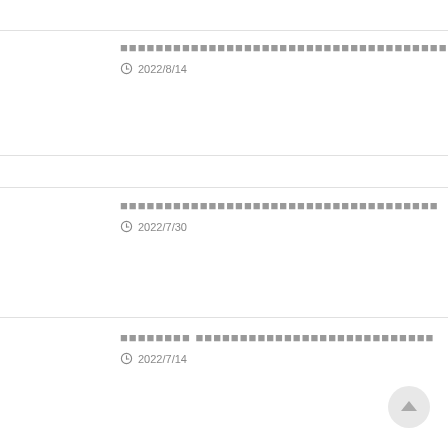■■■■■■■■■■■■■■■■■■■■■■■■■■■■■■■■■■■■■■■ 2022/8/14
■■■■■■■■■■■■■■■■■■■■■■■■■■■■■■■■■■■■ 2022/7/30
■■■■■■■■ ■■■■■■■■■■■■■■■■■■■■■■■■■■■ 2022/7/14